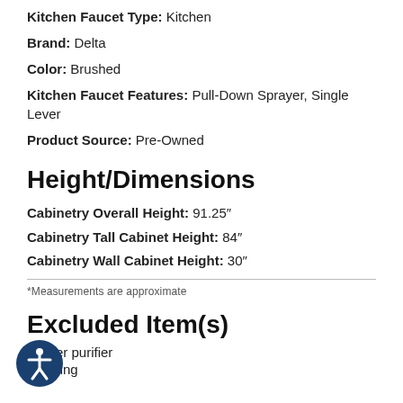Kitchen Faucet Type: Kitchen
Brand: Delta
Color: Brushed
Kitchen Faucet Features: Pull-Down Sprayer, Single Lever
Product Source: Pre-Owned
Height/Dimensions
Cabinetry Overall Height: 91.25"
Cabinetry Tall Cabinet Height: 84"
Cabinetry Wall Cabinet Height: 30"
*Measurements are approximate
Excluded Item(s)
*Water purifier
*Seating